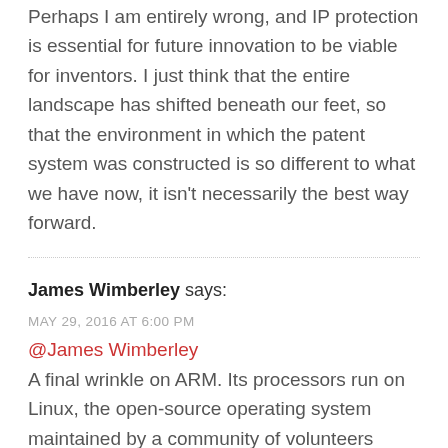Perhaps I am entirely wrong, and IP protection is essential for future innovation to be viable for inventors. I just think that the entire landscape has shifted beneath our feet, so that the environment in which the patent system was constructed is so different to what we have now, it isn't necessarily the best way forward.
James Wimberley says: MAY 29, 2016 AT 6:00 PM
@James Wimberley A final wrinkle on ARM. Its processors run on Linux, the open-source operating system maintained by a community of volunteers across the world – many of them employees of profit-making IT companies who are among the main distributors of open-source software.